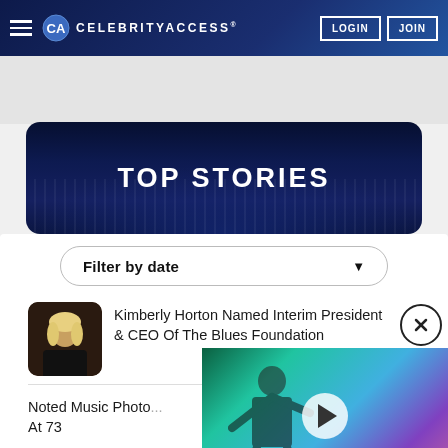CELEBRITYACCESS® | LOGIN | JOIN
[Figure (screenshot): CelebrityAccess website header with hamburger menu, logo, LOGIN and JOIN buttons on dark blue gradient background]
TOP STORIES
Filter by date
Kimberly Horton Named Interim President & CEO Of The Blues Foundation
Noted Music Photo... At 73